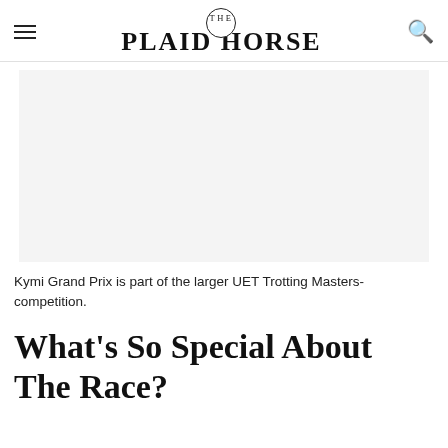THE PLAID HORSE
[Figure (photo): Large rectangular image placeholder with light gray background, associated with Kymi Grand Prix / UET Trotting Masters competition article.]
Kymi Grand Prix is part of the larger UET Trotting Masters-competition.
What’s So Special About The Race?